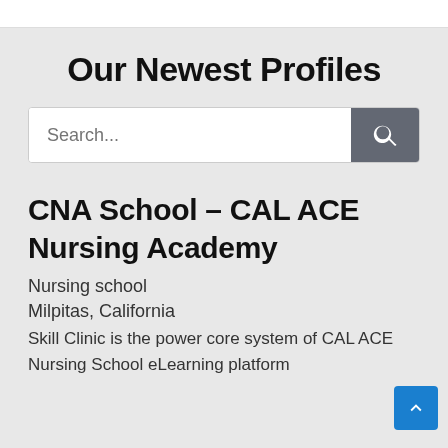Our Newest Profiles
[Figure (other): Search bar with text input placeholder 'Search...' and dark grey search button with magnifying glass icon]
CNA School – CAL ACE Nursing Academy
Nursing school
Milpitas, California
Skill Clinic is the power core system of CAL ACE Nursing School eLearning platform